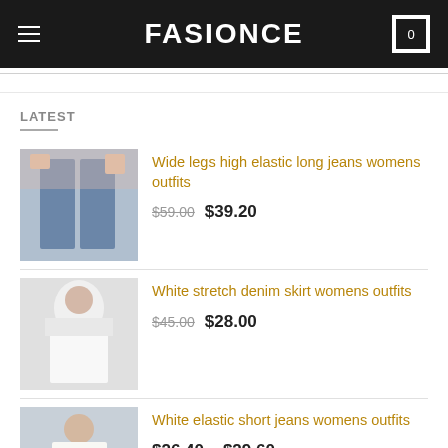FASIONCE
LATEST
Wide legs high elastic long jeans womens outfits — $59.00 $39.20
White stretch denim skirt womens outfits — $45.00 $28.00
White elastic short jeans womens outfits — $26.40 – $29.60
White cracked denim skirt womens outfits